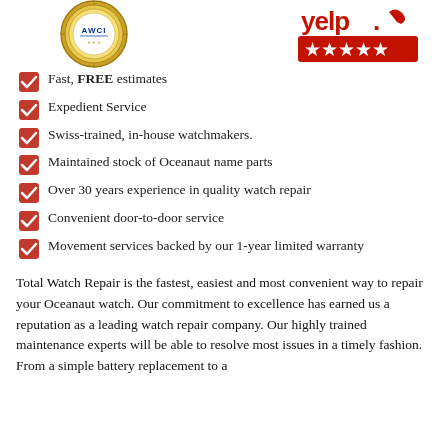[Figure (logo): AWCI circular gold seal/badge logo on the left, and Yelp logo with 5 red stars on the right]
Fast, FREE estimates
Expedient Service
Swiss-trained, in-house watchmakers.
Maintained stock of Oceanaut name parts
Over 30 years experience in quality watch repair
Convenient door-to-door service
Movement services backed by our 1-year limited warranty
Total Watch Repair is the fastest, easiest and most convenient way to repair your Oceanaut watch. Our commitment to excellence has earned us a reputation as a leading watch repair company. Our highly trained maintenance experts will be able to resolve most issues in a timely fashion. From a simple battery replacement to a